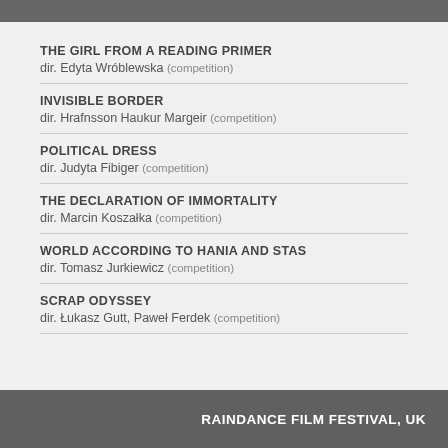THE GIRL FROM A READING PRIMER
dir. Edyta Wróblewska (competition)
INVISIBLE BORDER
dir. Hrafnsson Haukur Margeir (competition)
POLITICAL DRESS
dir. Judyta Fibiger (competition)
THE DECLARATION OF IMMORTALITY
dir. Marcin Koszałka (competition)
WORLD ACCORDING TO HANIA AND STAS
dir. Tomasz Jurkiewicz (competition)
SCRAP ODYSSEY
dir. Łukasz Gutt, Paweł Ferdek (competition)
RAINDANCE FILM FESTIVAL, UK